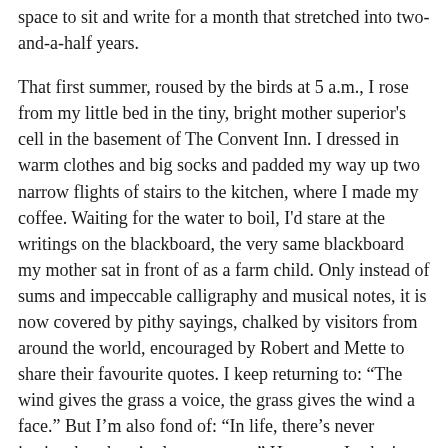space to sit and write for a month that stretched into two-and-a-half years.
That first summer, roused by the birds at 5 a.m., I rose from my little bed in the tiny, bright mother superior's cell in the basement of The Convent Inn. I dressed in warm clothes and big socks and padded my way up two narrow flights of stairs to the kitchen, where I made my coffee. Waiting for the water to boil, I'd stare at the writings on the blackboard, the very same blackboard my mother sat in front of as a farm child. Only instead of sums and impeccable calligraphy and musical notes, it is now covered by pithy sayings, chalked by visitors from around the world, encouraged by Robert and Mette to share their favourite quotes. I keep returning to: “The wind gives the grass a voice, the grass gives the wind a face.” But I'm also fond of: “In life, there’s never justice; but there’s always mercy.” However, I substitute “never” with “rarely”.
Then I’d carry my cup down the long hall, lined with glass cabinets full of old catechisms and French grammar books, to the chapel at the far end. Some days I’d stop to read the book